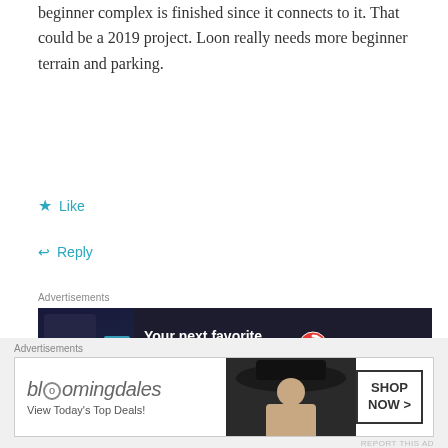beginner complex is finished since it connects to it. That could be a 2019 project. Loon really needs more beginner terrain and parking.
★ Like
↩ Reply
[Figure (infographic): Advertisement banner for Pocket Casts podcast app showing dark phone screen mockup with text 'Your next favorite podcast is here.' and Pocket Casts logo]
REPORT THIS AD
WOOD RIVER TRAILS
May 30, 2018 / 3:53 pm
[Figure (infographic): Bloomingdale's advertisement banner showing 'View Today's Top Deals!' with woman in large hat and 'SHOP NOW >' button]